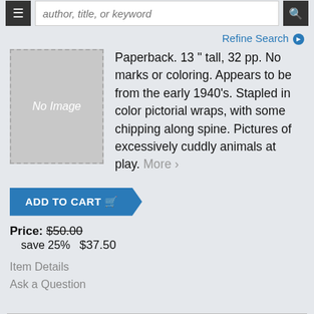[Figure (screenshot): Navigation bar with hamburger menu icon, search input placeholder 'author, title, or keyword', and search button]
Refine Search ❯
[Figure (illustration): No Image placeholder - grey box with dashed border and italic 'No Image' text]
Paperback. 13 " tall, 32 pp. No marks or coloring. Appears to be from the early 1940's. Stapled in color pictorial wraps, with some chipping along spine. Pictures of excessively cuddly animals at play. More ›
ADD TO CART 🛒
Price: $50.00
   save 25%   $37.50
Item Details
Ask a Question